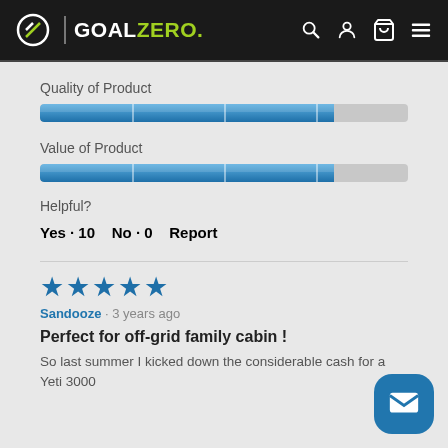[Figure (screenshot): Goal Zero website header with logo, search, account, cart and menu icons on dark background]
Quality of Product
[Figure (other): Horizontal rating bar for Quality of Product, approximately 80% filled in blue]
Value of Product
[Figure (other): Horizontal rating bar for Value of Product, approximately 80% filled in blue]
Helpful?
Yes · 10    No · 0    Report
[Figure (other): Five blue stars rating]
Sandooze · 3 years ago
Perfect for off-grid family cabin !
So last summer I kicked down the considerable cash for a Yeti 3000